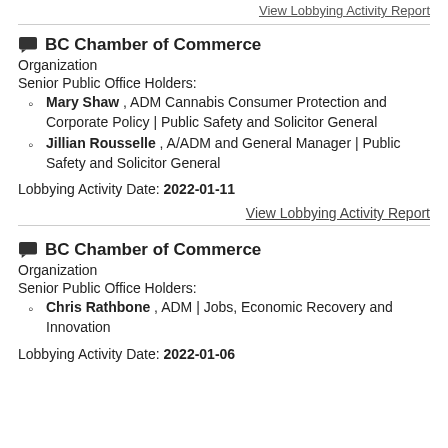View Lobbying Activity Report
BC Chamber of Commerce
Organization
Senior Public Office Holders:
Mary Shaw , ADM Cannabis Consumer Protection and Corporate Policy | Public Safety and Solicitor General
Jillian Rousselle , A/ADM and General Manager | Public Safety and Solicitor General
Lobbying Activity Date: 2022-01-11
View Lobbying Activity Report
BC Chamber of Commerce
Organization
Senior Public Office Holders:
Chris Rathbone , ADM | Jobs, Economic Recovery and Innovation
Lobbying Activity Date: 2022-01-06